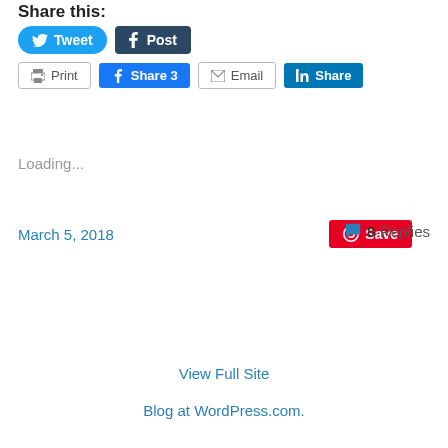Share this:
[Figure (screenshot): Social share buttons: Tweet (Twitter), Post (Tumblr), Print, Share 3 (Facebook), Email, Share (LinkedIn), Save (Pinterest)]
Loading...
March 5, 2018
8 Replies
View Full Site
Blog at WordPress.com.